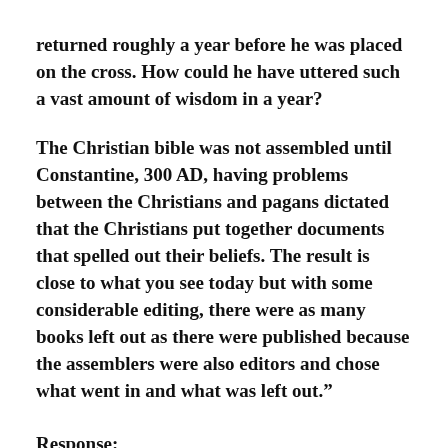returned roughly a year before he was placed on the cross. How could he have uttered such a vast amount of wisdom in a year?
The Christian bible was not assembled until Constantine, 300 AD, having problems between the Christians and pagans dictated that the Christians put together documents that spelled out their beliefs. The result is close to what you see today but with some considerable editing, there were as many books left out as there were published because the assemblers were also editors and chose what went in and what was left out.”
Response: